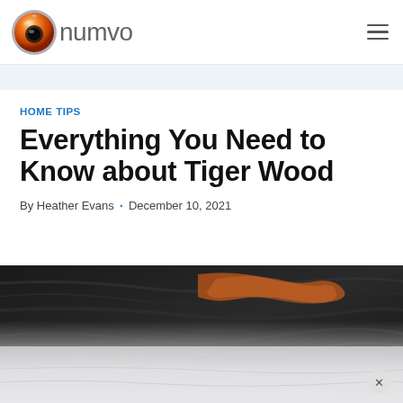numvo
HOME TIPS
Everything You Need to Know about Tiger Wood
By Heather Evans · December 10, 2021
[Figure (photo): Close-up photo of tiger wood surface showing dark grain patterns with an orange/brown hand or piece resting on it, partially obscured by a lighter overlay at the bottom]